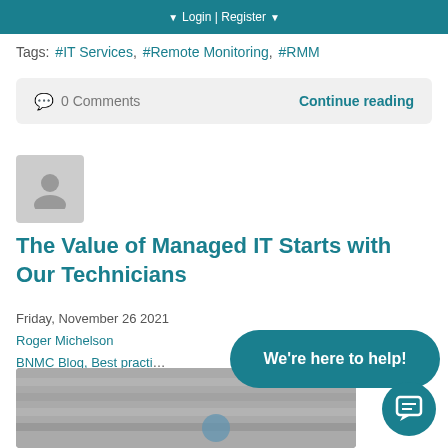Login | Register
Tags: #IT Services, #Remote Monitoring, #RMM
0 Comments    Continue reading
[Figure (illustration): Generic user avatar icon in a grey rounded rectangle]
The Value of Managed IT Starts with Our Technicians
Friday, November 26 2021
Roger Michelson
BNMC Blog, Best practi...
[Figure (photo): Blurred image of stacked files or server equipment in grey tones]
We're here to help!